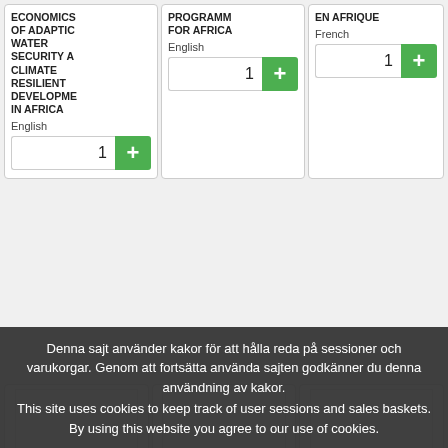[Figure (screenshot): Product card showing book title: ECONOMICS OF ADAPTIVE WATER SECURITY A CLIMATE RESILIENT DEVELOPMENT IN AFRICA, language: English, quantity input showing 1 with green + button]
[Figure (screenshot): Product card showing book title: PROGRAMME FOR AFRICA (partially clipped), language: English, quantity input showing 1 with green + button]
[Figure (screenshot): Product card showing book title: EN AFRIQUE (partially clipped), language: French, quantity input showing 1 with green + button]
[Figure (screenshot): Three empty product card placeholders with white book image areas, partially visible, with text GLOBAL WATER, WASH CLIM. RESILIENT, and WASH CLIMATE visible at bottom]
Denna sajt använder kakor för att hålla reda på sessioner och varukorgar. Genom att fortsätta använda sajten godkänner du denna användning av kakor.
This site uses cookies to keep track of user sessions and sales baskets. By using this website you agree to our use of cookies.